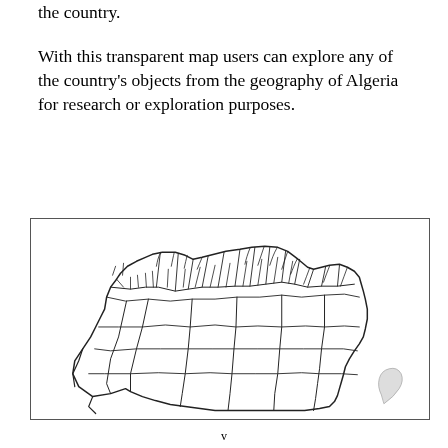the country.
With this transparent map users can explore any of the country's objects from the geography of Algeria for research or exploration purposes.
[Figure (map): Outline map of Algeria showing administrative divisions/wilayas, with detailed borders in the northern coastal region and larger southern regions.]
v